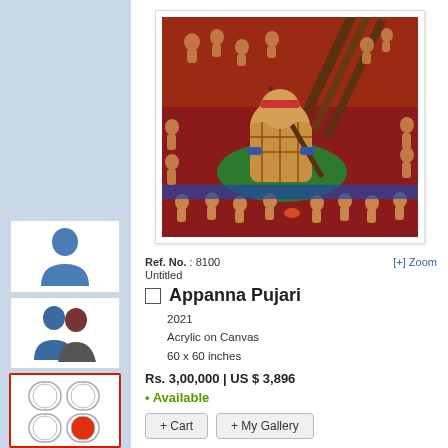[Figure (illustration): Sidebar icon: single blue person silhouette on white background]
[Figure (illustration): Sidebar icon: two person silhouettes (blue and red/dark) on white background]
[Figure (illustration): Sidebar icon: grid of circles with one red circle, highlighted with red border (active/selected state)]
[Figure (photo): Artwork painting by Appanna Pujari - Indian folk art style painting showing a large seated figure holding a staff, surrounded by smaller figures, with red and blue background. Acrylic on Canvas.]
Ref. No. : 8100
[+] Zoom
Untitled
Appanna Pujari
2021
Acrylic on Canvas
60 x 60 inches
Rs. 3,00,000 | US $ 3,896
• Available
+ Cart
+ My Gallery